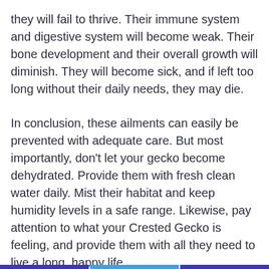they will fail to thrive. Their immune system and digestive system will become weak. Their bone development and their overall growth will diminish. They will become sick, and if left too long without their daily needs, they may die.
In conclusion, these ailments can easily be prevented with adequate care. But most importantly, don't let your gecko become dehydrated. Provide them with fresh clean water daily. Mist their habitat and keep humidity levels in a safe range. Likewise, pay attention to what your Crested Gecko is feeling, and provide them with all they need to live a long, happy life.